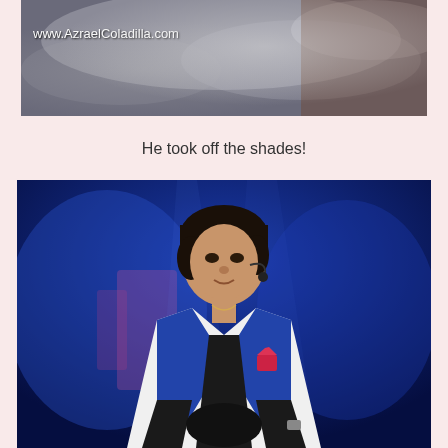[Figure (photo): Top cropped photo with smoke/light effect and watermark www.AzraelColadilla.com]
He took off the shades!
[Figure (photo): Photo of a young Asian man in a white blazer with blue lapels and black gloves, performing on a stage with blue lighting backdrop, wearing a headset microphone]